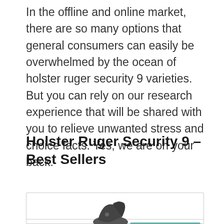In the offline and online market, there are so many options that general consumers can easily be overwhelmed by the ocean of holster ruger security 9 varieties. But you can rely on our research experience that will be shared with you to relieve unwanted stress and choice facts. Yes, we are on your back.
Holster Ruger Security 9 – Best Sellers
| 1 |
| --- |
| [product image] | Back To Top |